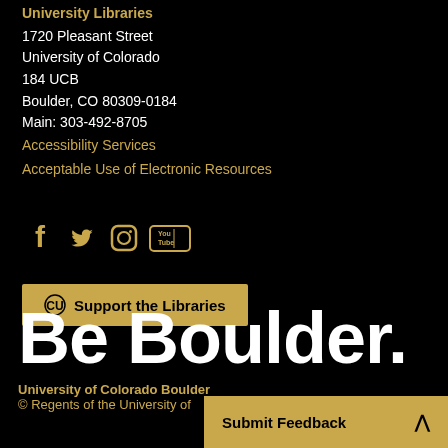University Libraries
1720 Pleasant Street
University of Colorado
184 UCB
Boulder, CO 80309-0184
Main: 303-492-8705
Accessibility Services
Acceptable Use of Electronic Resources
[Figure (other): Social media icons: Facebook, Twitter, Instagram, YouTube]
Support the Libraries
Be Boulder.
University of Colorado Boulder
© Regents of the University of
Submit Feedback